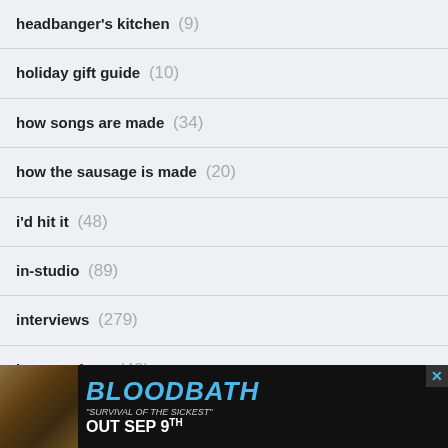headbanger's kitchen (9)
holiday gift guide (10)
how songs are made (34)
how the sausage is made (20)
i'd hit it (48)
in-studio (89)
interviews (279)
jam sessions (48)
jazz dispatch (11)
[Figure (illustration): BLOODBATH advertisement banner - 'Survival of the Sickest' Out Sep 9th]